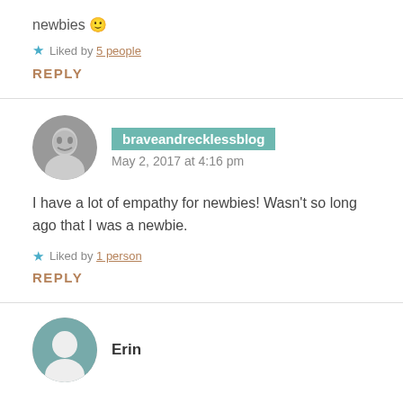newbies 🙂
★ Liked by 5 people
REPLY
braveandrecklessblog
May 2, 2017 at 4:16 pm
I have a lot of empathy for newbies! Wasn't so long ago that I was a newbie.
★ Liked by 1 person
REPLY
Erin